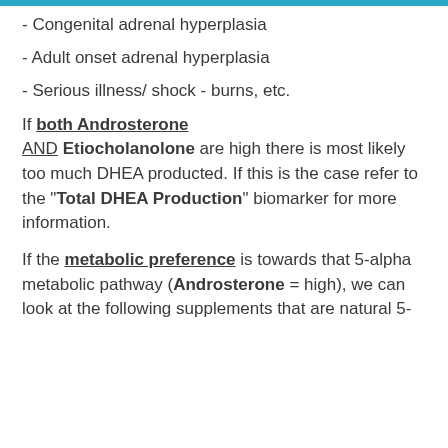- Congenital adrenal hyperplasia
- Adult onset adrenal hyperplasia
- Serious illness/ shock - burns, etc.
If both Androsterone AND Etiocholanolone are high there is most likely too much DHEA producted. If this is the case refer to the "Total DHEA Production" biomarker for more information.
If the metabolic preference is towards that 5-alpha metabolic pathway (Androsterone = high), we can look at the following supplements that are natural 5-